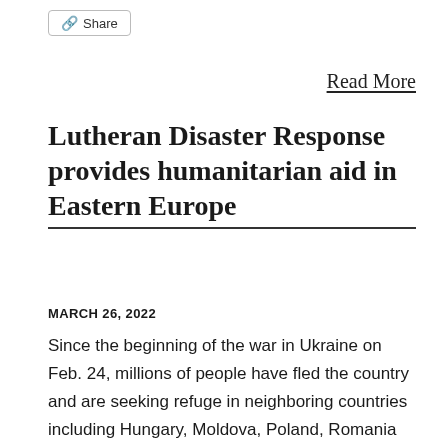Share
Read More
Lutheran Disaster Response provides humanitarian aid in Eastern Europe
MARCH 26, 2022
Since the beginning of the war in Ukraine on Feb. 24, millions of people have fled the country and are seeking refuge in neighboring countries including Hungary, Moldova, Poland, Romania and Slovakia. There are major humanitarian concerns for both internally displaced people and refugees. Many of those Ukrainians fleeing...